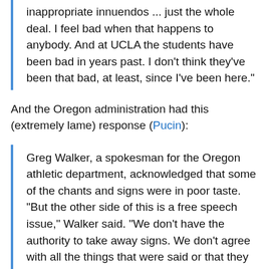inappropriate innuendos ... just the whole deal. I feel bad when that happens to anybody. And at UCLA the students have been bad in years past. I don't think they've been that bad, at least, since I've been here."
And the Oregon administration had this (extremely lame) response (Pucin):
Greg Walker, a spokesman for the Oregon athletic department, acknowledged that some of the chants and signs were in poor taste. "But the other side of this is a free speech issue," Walker said. "We don't have the authority to take away signs. We don't agree with all the things that were said or that they were in the best of taste. We're aware of everything that was said and we're not always proud. But there is a right to free speech."